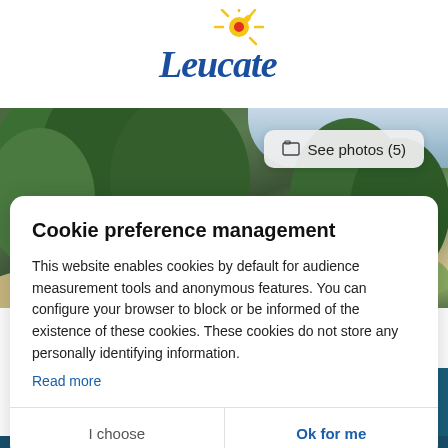[Figure (logo): Leucate tourism logo with stylized sun and cursive text 'Leucate' in blue]
[Figure (photo): Outdoor landscape photo showing pine trees and rocky terrain with cloudy sky, with a 'See photos (5)' button overlay]
Cookie preference management
This website enables cookies by default for audience measurement tools and anonymous features. You can configure your browser to block or be informed of the existence of these cookies. These cookies do not store any personally identifying information.
Read more
I choose
Ok for me